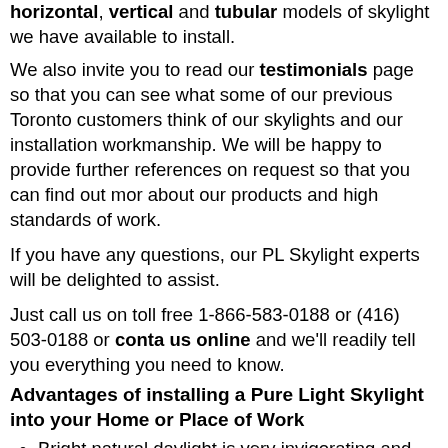horizontal, vertical and tubular models of skylight we have available to install.
We also invite you to read our testimonials page so that you can see what some of our previous Toronto customers think of our skylights and our installation workmanship. We will be happy to provide further references on request so that you can find out more about our products and high standards of work.
If you have any questions, our PL Skylight experts will be delighted to assist.
Just call us on toll free 1-866-583-0188 or (416) 503-0188 or contact us online and we'll readily tell you everything you need to know.
Advantages of installing a Pure Light Skylight into your Home or Place of Work
Bright natural daylight is very invigorating and mood enhancing.
Light filled rooms feel and smell fresher thanks to the ionizing effects of sunlight on the air.
Skylights in the workplace can make employees more alert, productive and accurate.
More daylight inside will provide an instant “lift” to your décor, making colours appear brighter and rooms appear more spacious.
More natural light inside can improve your health by reducing the